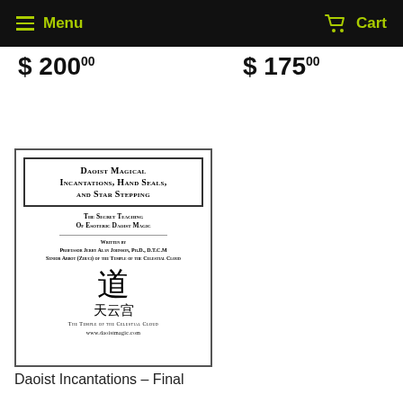Menu   Cart
$ 200.00
$ 175.00
[Figure (photo): Book cover: Daoist Magical Incantations, Hand Seals, and Star Stepping. The Secret Teaching of Esoteric Daoist Magic. Written by Professor Jerry Alan Johnson, Ph.D., D.T.C.M, Senior Abbot (Zhuci) of the Temple of the Celestial Cloud. Features a Daoist symbol and Chinese characters 天云宫 (Temple of the Celestial Cloud). URL: www.daoistmagic.com]
Daoist Incantations – Final Edition